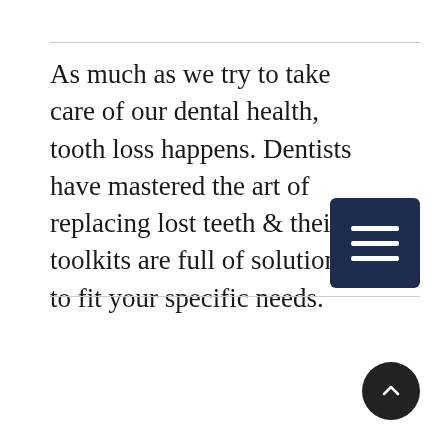As much as we try to take care of our dental health, tooth loss happens. Dentists have mastered the art of replacing lost teeth & their toolkits are full of solutions to fit your specific needs.
[Figure (other): Dark navy blue hamburger menu button icon with three white horizontal bars]
[Figure (other): Dark circular scroll-to-top button with white upward-pointing chevron arrow]